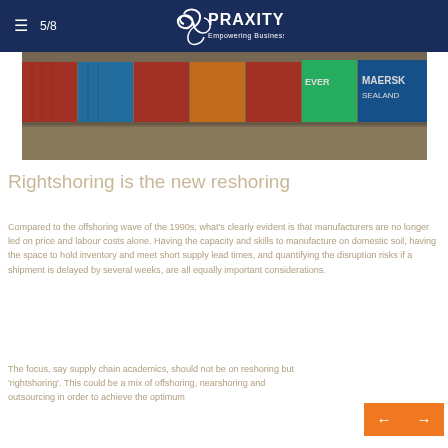≡  5/8   PRAXITY® Empowering Business Globally
[Figure (photo): Shipping containers stacked at a port, showing MAERSK SEALAND and other carrier containers in various colors]
Rightshoring is the new reshoring
Compared to the offshoring wave of the 1990s, what's clearly evident is that manufacturers are no longer led on price and labour costs alone. Having the capacity and skills to manufacture on domestic soil, having the space to hold inventory and meet short supply lead times, and quantifying the disruption risks if a shipment is delayed by several weeks, are all equally important considerations.
The focus, say supply chain academics, should not be on reshoring but 'rightshoring'. This could be a mix of offshoring, nearshoring and outsourcing in order to achieve the optimum